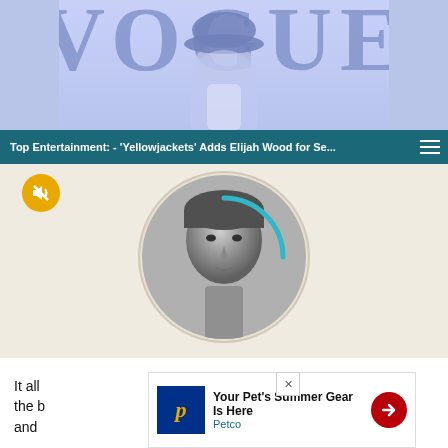[Figure (photo): Top portion of a magazine cover with a woman wearing a blue hat with purple-tinted hair, partial VOGUE text visible]
Top Entertainment: - ‘Yellowjackets’ Adds Elijah Wood for Se...
[Figure (photo): Circular black and white portrait photo of Elijah Wood on a beige/cream background, with a teal loading arc overlay and a yellow mute button]
It all ... of the b... nos, and ... thor